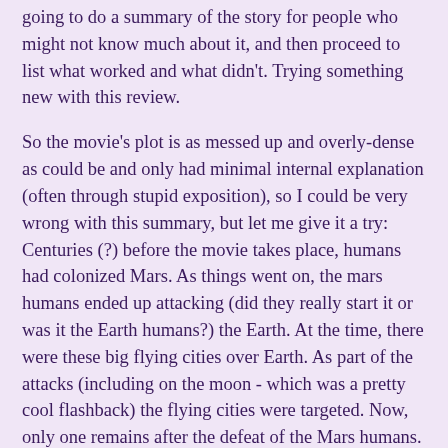going to do a summary of the story for people who might not know much about it, and then proceed to list what worked and what didn't. Trying something new with this review.
So the movie's plot is as messed up and overly-dense as could be and only had minimal internal explanation (often through stupid exposition), so I could be very wrong with this summary, but let me give it a try: Centuries (?) before the movie takes place, humans had colonized Mars. As things went on, the mars humans ended up attacking (did they really start it or was it the Earth humans?) the Earth. At the time, there were these big flying cities over Earth. As part of the attacks (including on the moon - which was a pretty cool flashback) the flying cities were targeted. Now, only one remains after the defeat of the Mars humans. The Earth elite live on that flying city while the rest of Earth humanity lives in various slums on the surface.
The major sporting event is a type of roller-ball/roller-derby with cyborg people. There is a big underground market for their parts and gangs of people who go out and attack cyborgs to steal their parts. There are also bounty hunters who get paid cash to catch criminals of all sorts. One of the best cybernetic engineers (Doctor